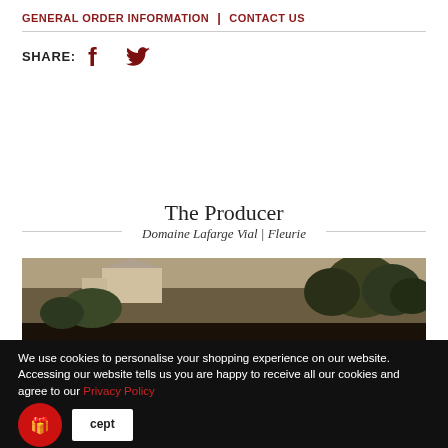GENERAL ORDER INFORMATION | CONTACT US
SHARE: [Facebook icon] [Twitter icon]
The Producer
Domaine Lafarge Vial | Fleurie
[Figure (photo): Outdoor landscape photo showing trees and a building/structure on a hillside]
We use cookies to personalise your shopping experience on our website. Accessing our website tells us you are happy to receive all our cookies and agree to our Privacy Policy
Deciding that they both wanted to invest in something